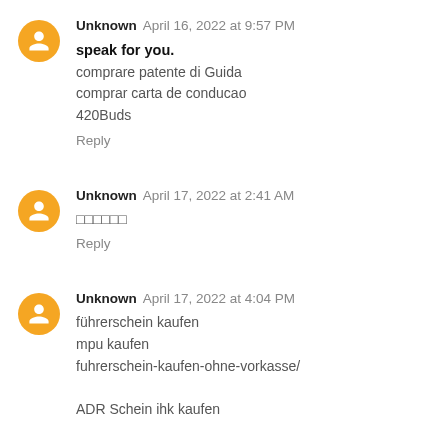Unknown April 16, 2022 at 9:57 PM
speak for you.
comprare patente di Guida
comprar carta de conducao
420Buds
Reply
Unknown April 17, 2022 at 2:41 AM
□□□□□□
Reply
Unknown April 17, 2022 at 4:04 PM
führerschein kaufen
mpu kaufen
fuhrerschein-kaufen-ohne-vorkasse/
ADR Schein ihk kaufen